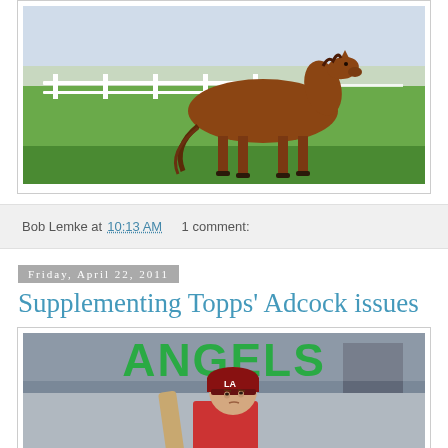[Figure (photo): Vintage illustration of a brown horse standing in a green pasture with white fence in background]
Bob Lemke at 10:13 AM   1 comment:
Friday, April 22, 2011
Supplementing Topps' Adcock issues
[Figure (photo): Baseball card showing text ANGELS in large green letters at top, with a player holding a bat and wearing a cap with LA logo]